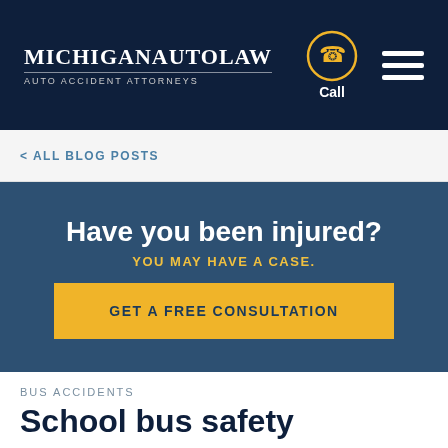[Figure (logo): MichiganAutoLaw logo with Auto Accident Attorneys tagline on dark navy header, with phone call icon and hamburger menu]
< ALL BLOG POSTS
Have you been injured?
YOU MAY HAVE A CASE.
GET A FREE CONSULTATION
BUS ACCIDENTS
School bus safety